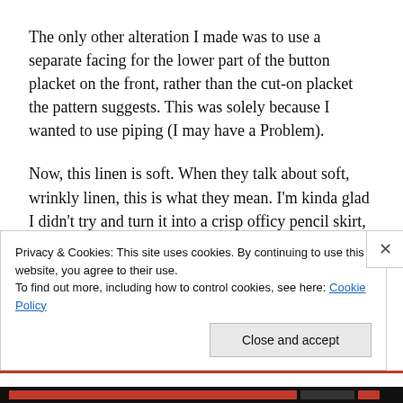The only other alteration I made was to use a separate facing for the lower part of the button placket on the front, rather than the cut-on placket the pattern suggests. This was solely because I wanted to use piping (I may have a Problem).
Now, this linen is soft. When they talk about soft, wrinkly linen, this is what they mean. I'm kinda glad I didn't try and turn it into a crisp officy pencil skirt, actually. It would've been wrong. This is the sort of fabric that wants to be a slouchy beach caftan.
Privacy & Cookies: This site uses cookies. By continuing to use this website, you agree to their use.
To find out more, including how to control cookies, see here: Cookie Policy